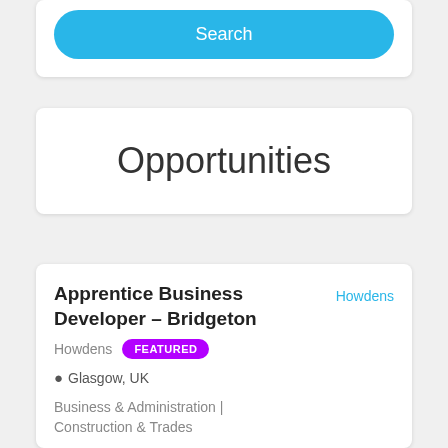[Figure (screenshot): Search button - a rounded pill-shaped blue button with white text 'Search']
Opportunities
Apprentice Business Developer – Bridgeton
Howdens   FEATURED
Glasgow, UK
Business & Administration | Construction & Trades
Are you looking for a new challenge where you can